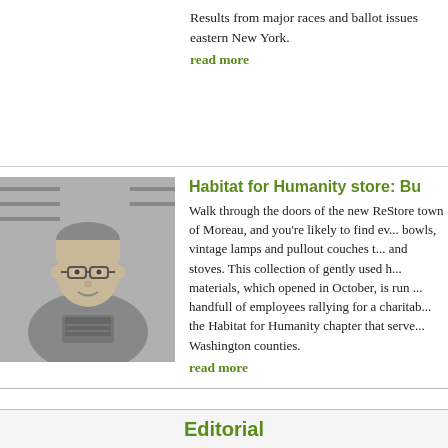Results from major races and ballot issues eastern New York.
read more
[Figure (photo): Black and white photo of a smiling man wearing glasses and a Habitat for Humanity ReStore sweatshirt, standing in a store.]
Habitat for Humanity store: Bu...
Walk through the doors of the new ReStore town of Moreau, and you're likely to find ev... bowls, vintage lamps and pullout couches t... and stoves. This collection of gently used h... materials, which opened in October, is run ... handfull of employees rallying for a charitab... the Habitat for Humanity chapter that serve... Washington counties.
read more
Editorial